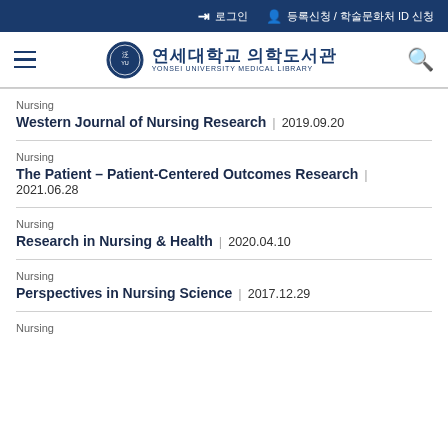로그인  등록신청 / 학술문화처 ID 신청
[Figure (logo): Yonsei University Medical Library logo with Korean text 연세대학교 의학도서관 and English text YONSEI UNIVERSITY MEDICAL LIBRARY]
Nursing | Western Journal of Nursing Research | 2019.09.20
Nursing | The Patient – Patient-Centered Outcomes Research | 2021.06.28
Nursing | Research in Nursing & Health | 2020.04.10
Nursing | Perspectives in Nursing Science | 2017.12.29
Nursing